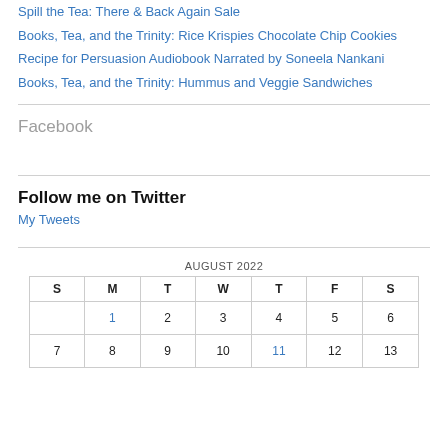Spill the Tea: There & Back Again Sale
Books, Tea, and the Trinity: Rice Krispies Chocolate Chip Cookies
Recipe for Persuasion Audiobook Narrated by Soneela Nankani
Books, Tea, and the Trinity: Hummus and Veggie Sandwiches
Facebook
Follow me on Twitter
My Tweets
| S | M | T | W | T | F | S |
| --- | --- | --- | --- | --- | --- | --- |
|  | 1 | 2 | 3 | 4 | 5 | 6 |
| 7 | 8 | 9 | 10 | 11 | 12 | 13 |